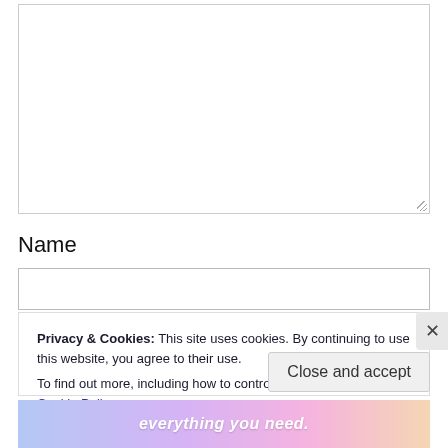[Figure (screenshot): Empty textarea input box with resize handle in bottom-right corner]
Name
[Figure (screenshot): Name text input field (empty)]
Privacy & Cookies: This site uses cookies. By continuing to use this website, you agree to their use.
To find out more, including how to control cookies, see here: Cookie Policy
Close and accept
[Figure (screenshot): Bottom advertisement bar with text 'everything you need.']